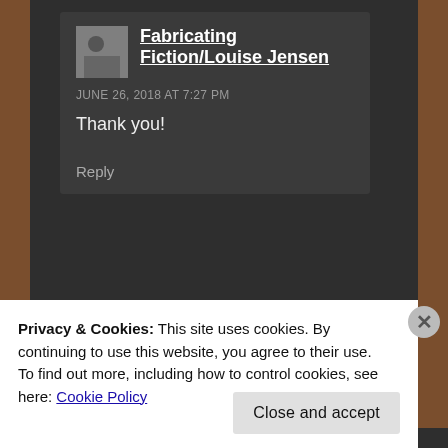Fabricating Fiction/Louise Jensen
JUNE 26, 2018 AT 7:27 PM
Thank you!
Reply
[Figure (infographic): Advertisement banner: Build a better web and a better world.]
REPORT THIS AD
Privacy & Cookies: This site uses cookies. By continuing to use this website, you agree to their use.
To find out more, including how to control cookies, see here: Cookie Policy
Close and accept